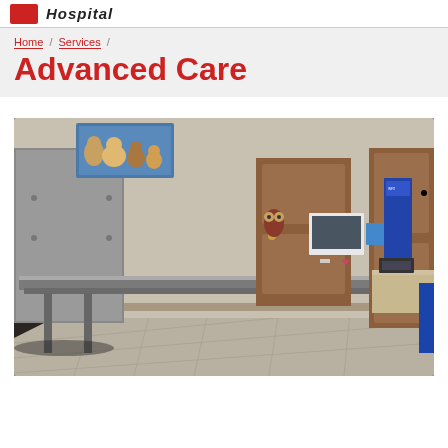Hospital
Home / Services /
Advanced Care
[Figure (photo): Interior of a veterinary examination room with a stainless steel adjustable exam table on the left, wooden doors in the background, a decorative owl figure on the wall, informational posters/screens, a wooden cabinet with a computer workstation on the right, and white tile flooring. A colorful painting of dogs is visible in the upper left corner.]